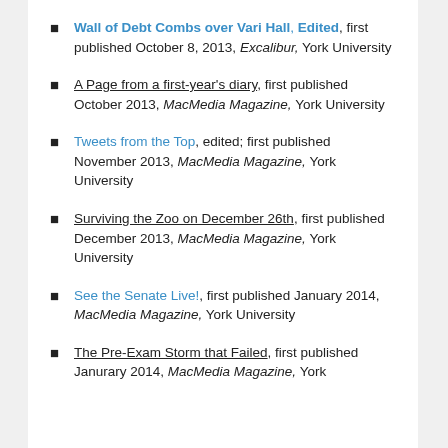Wall of Debt Combs over Vari Hall, Edited, first published October 8, 2013, Excalibur, York University
A Page from a first-year's diary, first published October 2013, MacMedia Magazine, York University
Tweets from the Top, edited; first published November 2013, MacMedia Magazine, York University
Surviving the Zoo on December 26th, first published December 2013, MacMedia Magazine, York University
See the Senate Live!, first published January 2014, MacMedia Magazine, York University
The Pre-Exam Storm that Failed, first published Janurary 2014, MacMedia Magazine, York